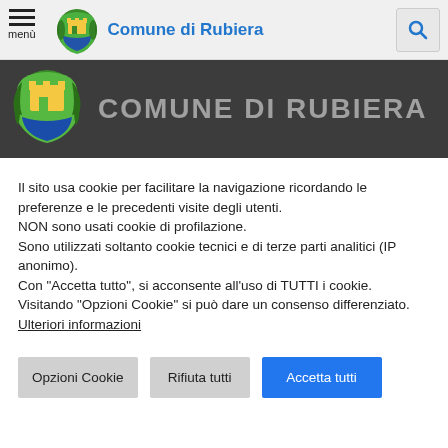menù | Comune di Rubiera
[Figure (logo): Comune di Rubiera municipal coat of arms logo in banner]
COMUNE DI RUBIERA
Il sito usa cookie per facilitare la navigazione ricordando le preferenze e le precedenti visite degli utenti.
NON sono usati cookie di profilazione.
Sono utilizzati soltanto cookie tecnici e di terze parti analitici (IP anonimo).
Con "Accetta tutto", si acconsente all'uso di TUTTI i cookie.
Visitando "Opzioni Cookie" si può dare un consenso differenziato.
Ulteriori informazioni